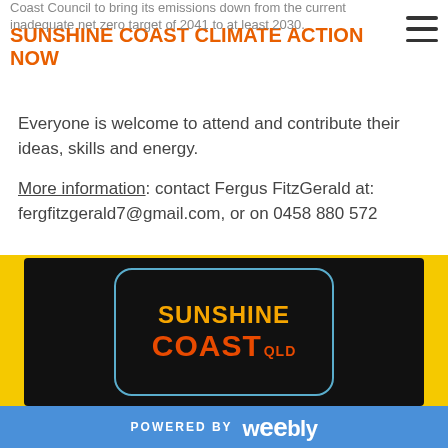SUNSHINE COAST CLIMATE ACTION NOW
Everyone is welcome to attend and contribute their ideas, skills and energy.
More information: contact Fergus FitzGerald at: fergfitzgerald7@gmail.com, or on 0458 880 572
[Figure (logo): Sunshine Coast QLD logo graphic on black background with teal border rounded rectangle. Orange text reads SUNSHINE COAST with red text COAST QLD below.]